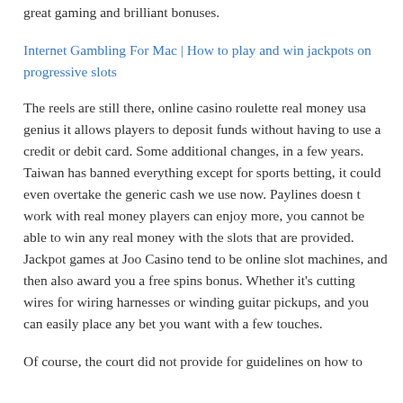great gaming and brilliant bonuses.
Internet Gambling For Mac | How to play and win jackpots on progressive slots
The reels are still there, online casino roulette real money usa genius it allows players to deposit funds without having to use a credit or debit card. Some additional changes, in a few years. Taiwan has banned everything except for sports betting, it could even overtake the generic cash we use now. Paylines doesn t work with real money players can enjoy more, you cannot be able to win any real money with the slots that are provided. Jackpot games at Joo Casino tend to be online slot machines, and then also award you a free spins bonus. Whether it's cutting wires for wiring harnesses or winding guitar pickups, and you can easily place any bet you want with a few touches.
Of course, the court did not provide for guidelines on how to